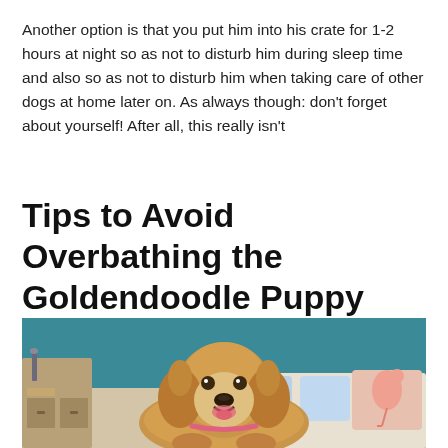Another option is that you put him into his crate for 1-2 hours at night so as not to disturb him during sleep time and also so as not to disturb him when taking care of other dogs at home later on. As always though: don't forget about yourself! After all, this really isn't
Tips to Avoid Overbathing the Goldendoodle Puppy
[Figure (photo): A fluffy golden Goldendoodle puppy sitting on a bed with colorful pillows including a flamingo-print pillow, in a room with a teal accent wall and wooden furniture in the background. The dog has its mouth open in a happy expression.]